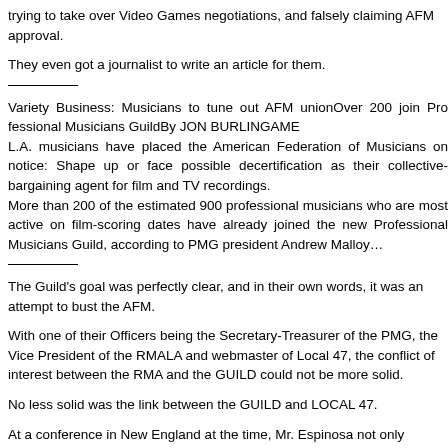trying to take over Video Games negotiations, and falsely claiming AFM approval.
They even got a journalist to write an article for them.
Variety Business: Musicians to tune out AFM unionOver 200 join Professional Musicians GuildBy JON BURLINGAME
L.A. musicians have placed the American Federation of Musicians on notice: Shape up or face possible decertification as their collective-bargaining agent for film and TV recordings.
More than 200 of the estimated 900 professional musicians who are most active on film-scoring dates have already joined the new Professional Musicians Guild, according to PMG president Andrew Malloy…
The Guild's goal was perfectly clear, and in their own words, it was an attempt to bust the AFM.
With one of their Officers being the Secretary-Treasurer of the PMG, the Vice President of the RMALA and webmaster of Local 47, the conflict of interest between the RMA and the GUILD could not be more solid.
No less solid was the link between the GUILD and LOCAL 47.
At a conference in New England at the time, Mr. Espinosa not only